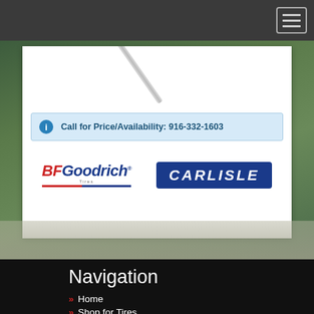[Figure (screenshot): Dark top navigation bar with hamburger menu icon in top right corner]
Call for Price/Availability: 916-332-1603
[Figure (logo): BFGoodrich Tires logo — red BF, blue Goodrich, italic bold text with underline]
[Figure (logo): Carlisle logo — white italic bold text on dark blue rounded rectangle background]
Navigation
Home
Shop for Tires
Shop For Wheels
Auto Repairs
FREE Service Cente...